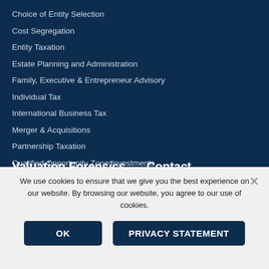Choice of Entity Selection
Cost Segregation
Entity Taxation
Estate Planning and Administration
Family, Executive & Entrepreneur Advisory
Individual Tax
International Business Tax
Merger & Acquisitions
Partnership Taxation
Qualified Opportunity Zone Investments
State & Local Tax
Tax Credits
Valuation Forensics
Contact
Valuations
Innsbrook Corporate Center
We use cookies to ensure that we give you the best experience on our website. By browsing our website, you agree to our use of cookies.